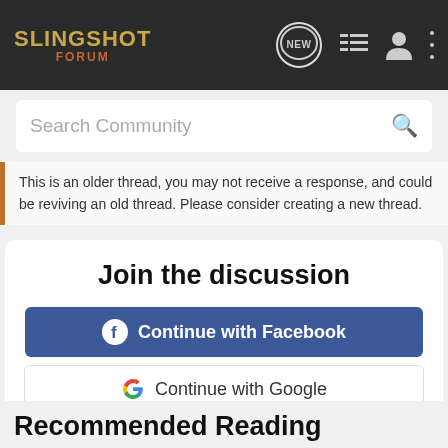SLINGSHOT FORUM
Search Community
This is an older thread, you may not receive a response, and could be reviving an old thread. Please consider creating a new thread.
Join the discussion
Continue with Facebook
Continue with Google
or sign up with email
Recommended Reading